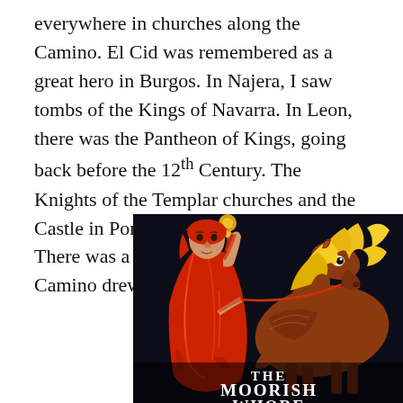everywhere in churches along the Camino. El Cid was remembered as a great hero in Burgos. In Najera, I saw tombs of the Kings of Navarra. In Leon, there was the Pantheon of Kings, going back before the 12th Century. The Knights of the Templar churches and the Castle in Ponferrada were spectacular. There was a rich history in Spain. The Camino drew me in to learn more.
[Figure (illustration): Book cover illustration showing a woman in red robes holding a staff with a golden ornament, standing next to a yellow-maned horse against a dark background. Text reads 'THE MOORISH WHORE' at the bottom.]